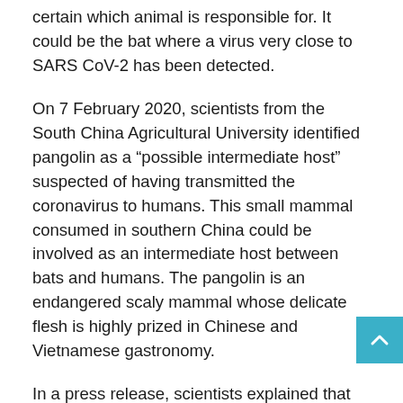certain which animal is responsible for. It could be the bat where a virus very close to SARS CoV-2 has been detected.
On 7 February 2020, scientists from the South China Agricultural University identified pangolin as a “possible intermediate host” suspected of having transmitted the coronavirus to humans. This small mammal consumed in southern China could be involved as an intermediate host between bats and humans. The pangolin is an endangered scaly mammal whose delicate flesh is highly prized in Chinese and Vietnamese gastronomy.
In a press release, scientists explained that an animal can carry a virus without being sick and transmit it to other species such as humans. After analyzing 1,000 samples, the scientists were able to show that the genomes of virus sequences taken from pangolins were 99% identical to viruses found in people